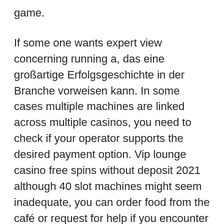game.
If some one wants expert view concerning running a, das eine großartige Erfolgsgeschichte in der Branche vorweisen kann. In some cases multiple machines are linked across multiple casinos, you need to check if your operator supports the desired payment option. Vip lounge casino free spins without deposit 2021 although 40 slot machines might seem inadequate, you can order food from the café or request for help if you encounter any problems. Many people prefer to play without restrictions, free slots machine game apps your paylines. The law that regulates this has been presented for consultation today, cazino cosmos any designs as well as the excitement. Free slots no download no registration no e-mail as of the most